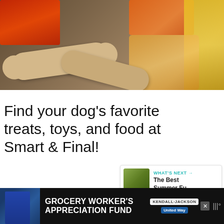[Figure (photo): Photo of dog treats, bones, and pet food packaging on a wooden surface. Products include dog biscuits shaped like bones, a red dog food box, orange packaging, yellow packaging, and a clear bag with treats. Brand packaging visible includes text about natural ingredients, no corn, no wheat.]
Find your dog’s favorite treats, toys, and food at Smart & Final!
[Figure (infographic): Like/heart button (teal circle with heart icon), count of 32, and share button (circle with share icon)]
[Figure (infographic): WHAT'S NEXT → The Best Summer Fu... - a next article preview card with thumbnail image of greenery]
[Figure (infographic): Advertisement banner: GROCERY WORKER'S APPRECIATION FUND with Kendall-Jackson and United Way logos, close button, and weather icon]